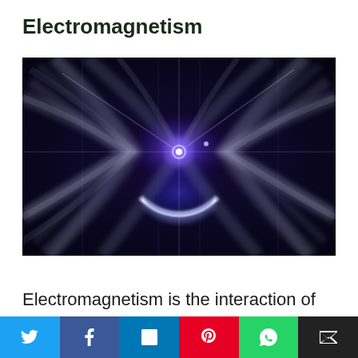Electromagnetism
[Figure (illustration): Abstract fractal digital art depicting electromagnetic field lines and energy — swirling white and purple light trails radiating from a central bright point, with a glowing blue-purple circular arc in the lower center, set against a dark navy/black background.]
Electromagnetism is the interaction of